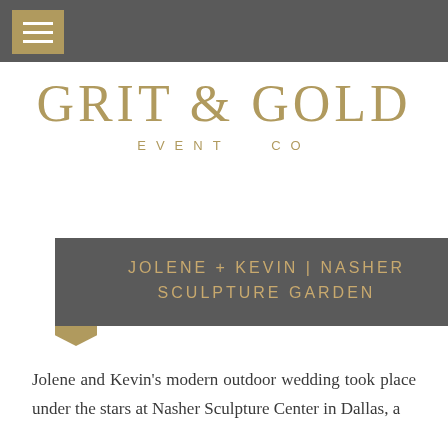[Figure (logo): Grit & Gold Event Co logo in gold/tan color on white background]
JOLENE + KEVIN | NASHER SCULPTURE GARDEN
Jolene and Kevin’s modern outdoor wedding took place under the stars at Nasher Sculpture Center in Dallas, a